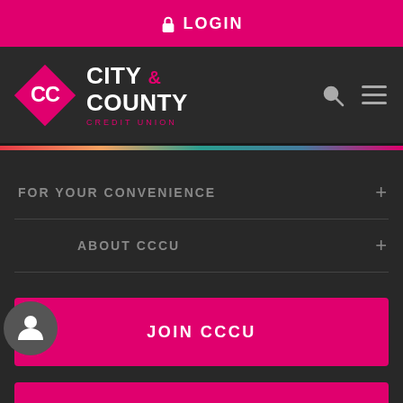LOGIN
[Figure (logo): City & County Credit Union logo with CC diamond emblem on dark navigation bar with search and menu icons]
FOR YOUR CONVENIENCE
ABOUT CCCU
JOIN CCCU
MEMBERSHIP ELIGIBILITY